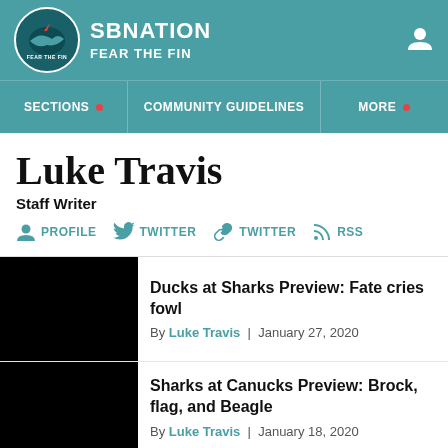SBNATION FEAR THE FIN
SECTIONS | COMMUNITY GUIDELINES | MORE
Luke Travis
Staff Writer
PROFILE | TWITTER | TWITTER | RSS
Ducks at Sharks Preview: Fate cries fowl
By Luke Travis | January 27, 2020
Sharks at Canucks Preview: Brock, flag, and Beagle
By Luke Travis | January 18, 2020